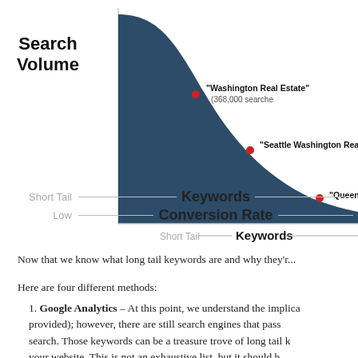[Figure (continuous-plot): Long tail keyword search volume curve chart. Y-axis labeled 'Search Volume'. Shows a steep downward curve from top-left to bottom-right. Three red dot markers indicate: 'Washington Real Estate' (368,000 searches), 'Seattle Washington Real Estate', and 'Queen A...' along the curve. X-axis bottom labels: Short Tail / Keywords / Low / Conversion Rate arrows left to right.]
Now that we know what long tail keywords are and why they'r...
Here are four different methods:
Google Analytics – At this point, we understand the implica... provided); however, there are still search engines that pass ... search. Those keywords can be a treasure trove of long tail k... your website. This is not an exhaustive list, but it should b...